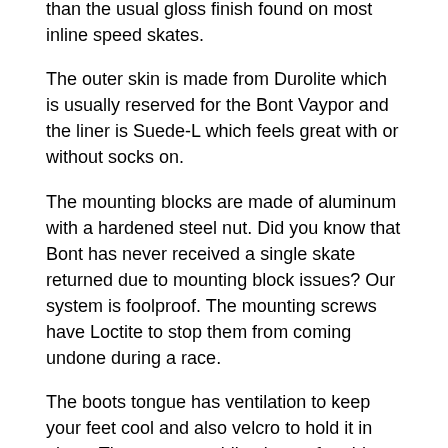than the usual gloss finish found on most inline speed skates.
The outer skin is made from Durolite which is usually reserved for the Bont Vaypor and the liner is Suede-L which feels great with or without socks on.
The mounting blocks are made of aluminum with a hardened steel nut. Did you know that Bont has never received a single skate returned due to mounting block issues? Our system is foolproof. The mounting screws have Loctite to stop them from coming undone during a race.
The boots tongue has ventilation to keep your feet cool and also velcro to hold it in place. The tongue padding is comfortable and stops lace bite. The laces are waxed and have very little stretch.
The boots insole is also...